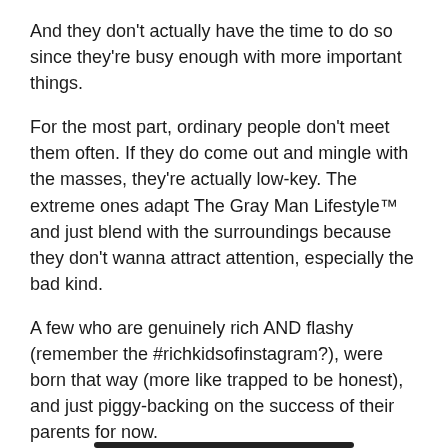And they don't actually have the time to do so since they're busy enough with more important things.
For the most part, ordinary people don't meet them often. If they do come out and mingle with the masses, they're actually low-key. The extreme ones adapt The Gray Man Lifestyle™ and just blend with the surroundings because they don't wanna attract attention, especially the bad kind.
A few who are genuinely rich AND flashy (remember the #richkidsofinstagram?), were born that way (more like trapped to be honest), and just piggy-backing on the success of their parents for now.
They're just bored.
So for now, *flash flash*.